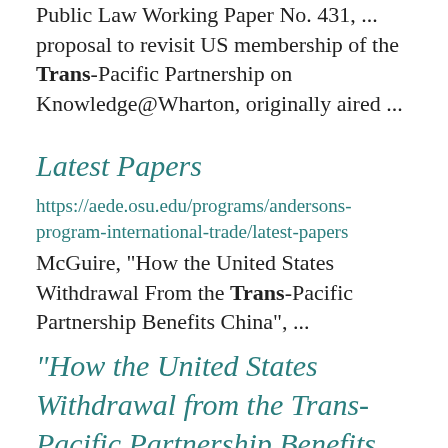Public Law Working Paper No. 431, ... proposal to revisit US membership of the Trans-Pacific Partnership on Knowledge@Wharton, originally aired ...
Latest Papers
https://aede.osu.edu/programs/andersons-program-international-trade/latest-papers
McGuire, "How the United States Withdrawal From the Trans-Pacific Partnership Benefits China", ...
"How the United States Withdrawal from the Trans-Pacific Partnership Benefits China"